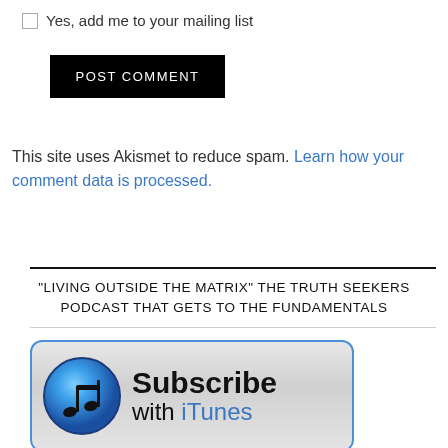Yes, add me to your mailing list
POST COMMENT
This site uses Akismet to reduce spam. Learn how your comment data is processed.
"LIVING OUTSIDE THE MATRIX" THE TRUTH SEEKERS PODCAST THAT GETS TO THE FUNDAMENTALS
[Figure (logo): Subscribe with iTunes button banner with music note icon]